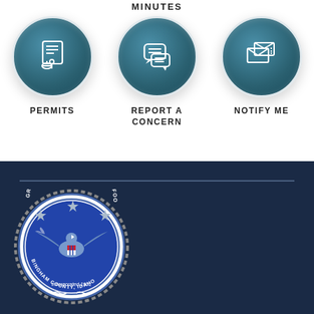MINUTES
[Figure (infographic): Three circular teal icon buttons arranged in a row: Permits (document/hand icon), Report a Concern (speech bubble icon), Notify Me (envelope/mail icon)]
PERMITS
REPORT A CONCERN
NOTIFY ME
[Figure (logo): Great Seal of the City of Blackfoot, Bingham County, Idaho - Incorporated 1901. Circular seal with eagle, stars, and decorative border on dark navy background.]